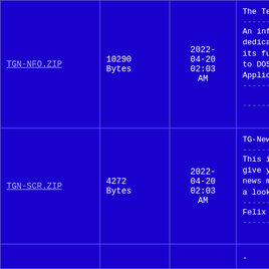| Filename | Size | Date | Description |
| --- | --- | --- | --- |
| TGN-NFO.ZIP | 10290 Bytes | 2022-04-20 02:03 AM | The Telegard Inform
--------------------
An information ne dedicated to help: its full potentia. to DOS,OS/2 and UN Applications - Runn
--------------------
Last Updated
-------------------- |
| TGN-SCR.ZIP | 4272 Bytes | 2022-04-20 02:03 AM | TG-News Script v1.0
--------------------
This is a simple sc give you the possib news messages to yo a look at the samp.
--------------------
Felix Mueller
-------------------- |
|  |  |  | - TGNAT v1 |